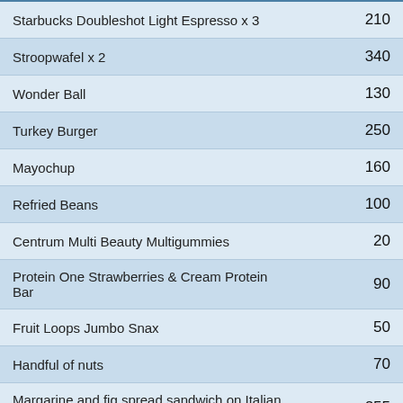| Item | Calories |
| --- | --- |
| Starbucks Doubleshot Light Espresso x 3 | 210 |
| Stroopwafel x 2 | 340 |
| Wonder Ball | 130 |
| Turkey Burger | 250 |
| Mayochup | 160 |
| Refried Beans | 100 |
| Centrum Multi Beauty Multigummies | 20 |
| Protein One Strawberries & Cream Protein Bar | 90 |
| Fruit Loops Jumbo Snax | 50 |
| Handful of nuts | 70 |
| Margarine and fig spread sandwich on Italian bread | 255 |
| Jersey Mike's Tuna Sub On Normal Bread W/Two Slices of Swiss | 1,160 |